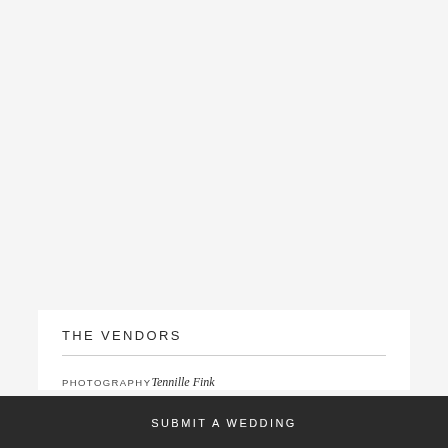THE VENDORS
PHOTOGRAPHY
Tennille Fink
SUBMIT A WEDDING